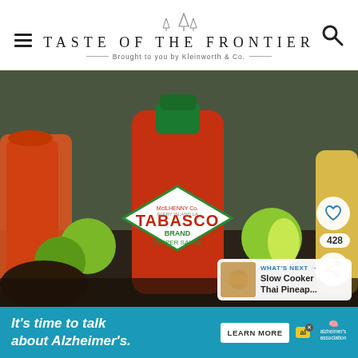TASTE OF THE FRONTIER — Brought to you by Kleinworth & Co.
[Figure (photo): A bottle of Tabasco McIlhenny Co. Pepper Sauce in the foreground, surrounded by limes, an avocado, and other hot sauce bottles in the background on a dark surface. Overlaid UI elements include a heart icon with 428 count and a share button. A 'What's Next' card shows Slow Cooker Thai Pineap...]
WHAT'S NEXT → Slow Cooker Thai Pineap...
It's time to talk about Alzheimer's.